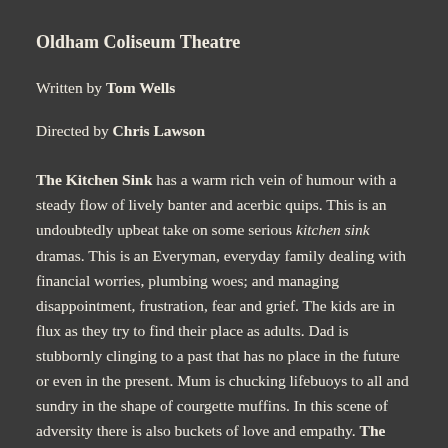Oldham Coliseum Theatre
Written by Tom Wells
Directed by Chris Lawson
The Kitchen Sink has a warm rich vein of humour with a steady flow of lively banter and acerbic quips. This is an undoubtedly upbeat take on some serious kitchen sink dramas. This is an Everyman, everyday family dealing with financial worries, plumbing woes; and managing disappointment, frustration, fear and grief. The kids are in flux as they try to find their place as adults. Dad is stubbornly clinging to a past that has no place in the future or even in the present. Mum is chucking lifebuoys to all and sundry in the shape of courgette muffins. In this scene of adversity there is also buckets of love and empathy. The Kitchen Sink is for everyone who has felt